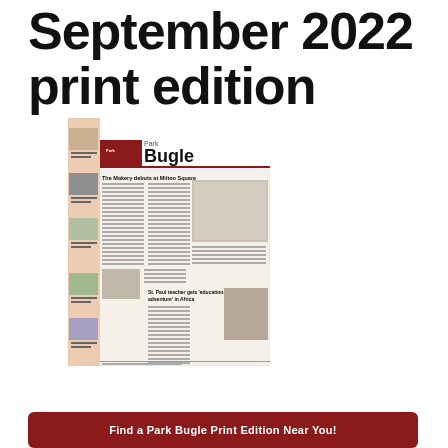September 2022 print edition
[Figure (screenshot): Thumbnail image of Park Bugle newspaper front page, September 2022, showing the masthead 'Park Bugle', headlines including 'The Makery debuts at Milton Square' and 'St. Paul teacher gets educational adventure in Africa', with photos and article columns.]
Find a Park Bugle Print Edition Near You!